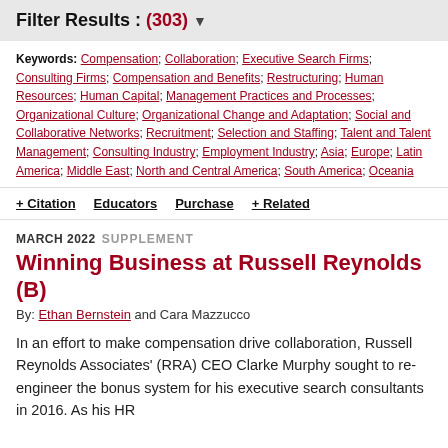Filter Results : (303) ▼
Keywords: Compensation; Collaboration; Executive Search Firms; Consulting Firms; Compensation and Benefits; Restructuring; Human Resources; Human Capital; Management Practices and Processes; Organizational Culture; Organizational Change and Adaptation; Social and Collaborative Networks; Recruitment; Selection and Staffing; Talent and Talent Management; Consulting Industry; Employment Industry; Asia; Europe; Latin America; Middle East; North and Central America; South America; Oceania
+ Citation   Educators   Purchase   + Related
MARCH 2022   SUPPLEMENT
Winning Business at Russell Reynolds (B)
By: Ethan Bernstein and Cara Mazzucco
In an effort to make compensation drive collaboration, Russell Reynolds Associates' (RRA) CEO Clarke Murphy sought to re-engineer the bonus system for his executive search consultants in 2016. As his HR